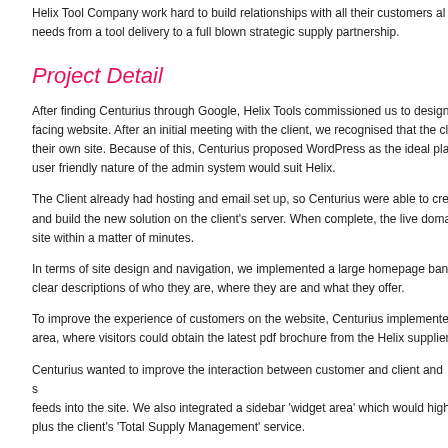Helix Tool Company work hard to build relationships with all their customers al... needs from a tool delivery to a full blown strategic supply partnership.
Project Detail
After finding Centurius through Google, Helix Tools commissioned us to design... facing website. After an initial meeting with the client, we recognised that the cl... their own site. Because of this, Centurius proposed WordPress as the ideal pla... user friendly nature of the admin system would suit Helix.
The Client already had hosting and email set up, so Centurius were able to cre... and build the new solution on the client's server. When complete, the live doma... site within a matter of minutes.
In terms of site design and navigation, we implemented a large homepage ban... clear descriptions of who they are, where they are and what they offer.
To improve the experience of customers on the website, Centurius implemente... area, where visitors could obtain the latest pdf brochure from the Helix supplier...
Centurius wanted to improve the interaction between customer and client and s... feeds into the site. We also integrated a sidebar 'widget area' which would high... plus the client's 'Total Supply Management' service.